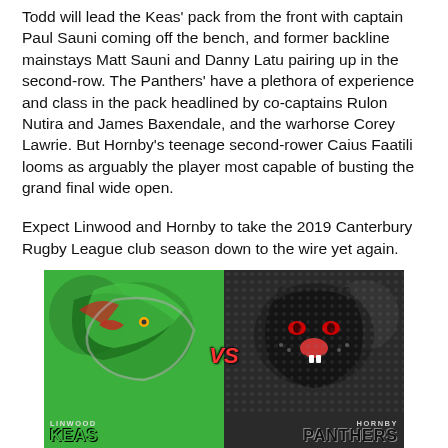Todd will lead the Keas' pack from the front with captain Paul Sauni coming off the bench, and former backline mainstays Matt Sauni and Danny Latu pairing up in the second-row. The Panthers' have a plethora of experience and class in the pack headlined by co-captains Rulon Nutira and James Baxendale, and the warhorse Corey Lawrie. But Hornby's teenage second-rower Caius Faatili looms as arguably the player most capable of busting the grand final wide open.

Expect Linwood and Hornby to take the 2019 Canterbury Rugby League club season down to the wire yet again.
[Figure (illustration): Promotional graphic showing Linwood Keas vs Hornby Panthers with team logos (green kea bird on left, black panther on right), VS text in red italic, team names at the bottom, and 'PREMIER MEN'S' text in red at the very bottom.]